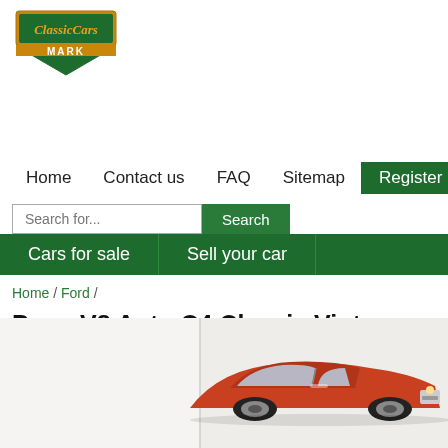[Figure (logo): ClassicCars MARK logo — green shield/badge shape with gold banner, italic script text 'ClassicCars' in gold and 'MARK' in white block letters]
Home   Contact us   FAQ   Sitemap   Register   Login
Search for...   Search
Cars for sale   Sell your car
Home / Ford /
Pony V8 Auto C4 Classic Vintage Collector A/C Original Edelbrock Pertronix Red W
[Figure (photo): Partial view of a red/orange classic Ford Mustang (Pony) photographed against a light background, showing the front and passenger side of the vehicle]